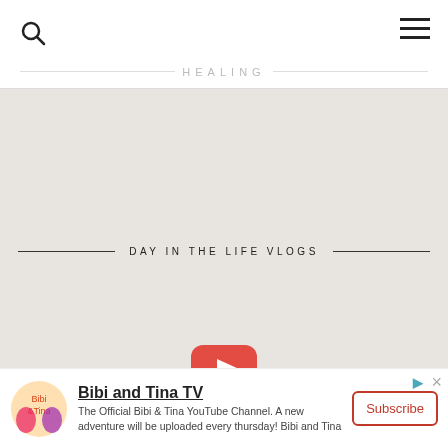HEALING
DAY IN THE LIFE VLOGS
[Figure (other): YouTube play button icon in red rounded rectangle]
[Figure (other): Advertisement banner for Bibi and Tina TV YouTube channel with logo, title, description text, and subscribe button]